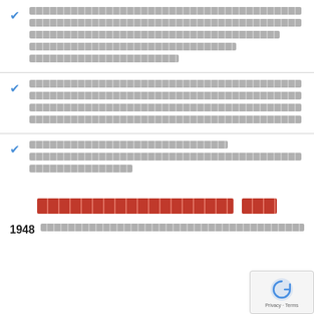[redacted list item 1 — multi-line redacted text block]
[redacted list item 2 — multi-line redacted text block]
[redacted list item 3 — multi-line redacted text block]
[redacted section title in red]
1948 [redacted text line]